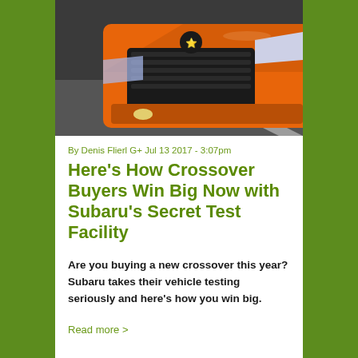[Figure (photo): Front view of an orange Subaru crossover SUV on a road, shot from a low angle showing the grille, headlights and hood]
By Denis Flierl G+ Jul 13 2017 - 3:07pm
Here’s How Crossover Buyers Win Big Now with Subaru’s Secret Test Facility
Are you buying a new crossover this year? Subaru takes their vehicle testing seriously and here’s how you win big.
Read more >